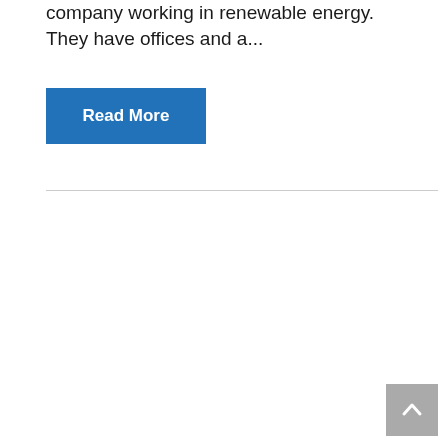company working in renewable energy. They have offices and a...
Read More
[Figure (other): Scroll to top button with upward chevron arrow, gray background]